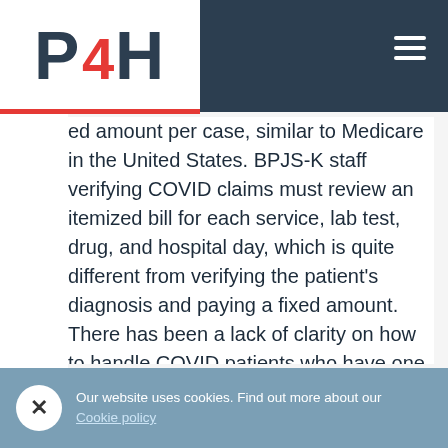P4H logo and navigation header
ed amount per case, similar to Medicare in the United States. BPJS-K staff verifying COVID claims must review an itemized bill for each service, lab test, drug, and hospital day, which is quite different from verifying the patient's diagnosis and paying a fixed amount.  There has been a lack of clarity on how to handle COVID patients who have one or more comorbidities, which drives up the cost.  Especially as a new disease, it is not always clear which parts of the claim apply to the MoH system (COVID-services) and which parts belong to JKN (all other services).  In July, the MOH revised the Decree 446/220[6] to accommodate disputes associated with patients with comorbidities and other issues.  However, there are many cases where the hospital is still unclear which
Our website uses cookies. Find out more about our Cookie policy